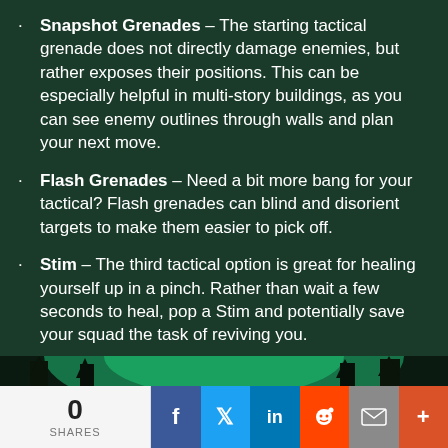Snapshot Grenades – The starting tactical grenade does not directly damage enemies, but rather exposes their positions. This can be especially helpful in multi-story buildings, as you can see enemy outlines through walls and plan your next move.
Flash Grenades – Need a bit more bang for your tactical? Flash grenades can blind and disorient targets to make them easier to pick off.
Stim – The third tactical option is great for healing yourself up in a pinch. Rather than wait a few seconds to heal, pop a Stim and potentially save your squad the task of reviving you.
[Figure (photo): Dark outdoor scene with glowing green/teal light illuminating trees from below against a dark sky]
0 SHARES | Facebook | Twitter | LinkedIn | Reddit | Email | More